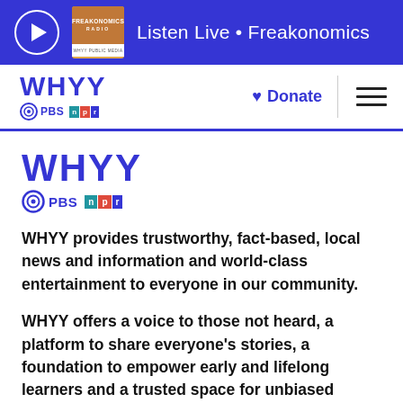Listen Live • Freakonomics
[Figure (logo): WHYY PBS NPR navigation logo with Donate button and hamburger menu]
[Figure (logo): WHYY PBS NPR large logo in content area]
WHYY provides trustworthy, fact-based, local news and information and world-class entertainment to everyone in our community.
WHYY offers a voice to those not heard, a platform to share everyone's stories, a foundation to empower early and lifelong learners and a trusted space for unbiased news. Learn more about Social Responsibility at WHYY. It's how we live.